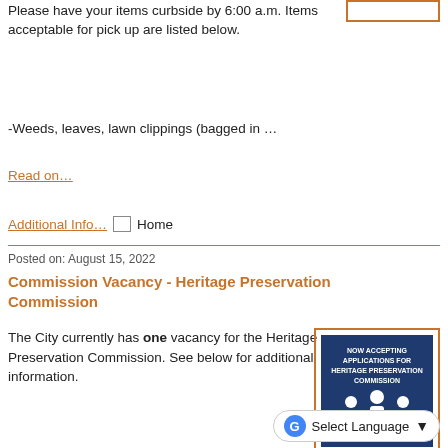Please have your items curbside by 6:00 a.m.  Items acceptable for pick up are listed below.
-Weeds, leaves, lawn clippings (bagged in …
Read on…
Additional Info… Home
Posted on: August 15, 2022
Commission Vacancy - Heritage Preservation Commission
The City currently has one vacancy for the Heritage Preservation Commission. See below for additional information.
[Figure (illustration): Dark blue badge with white text reading 'NOW ACCEPTING APPLICATIONS FOR HERITAGE PRESERVATION COMMISSION' and three human figure icons below the text]
Select Language